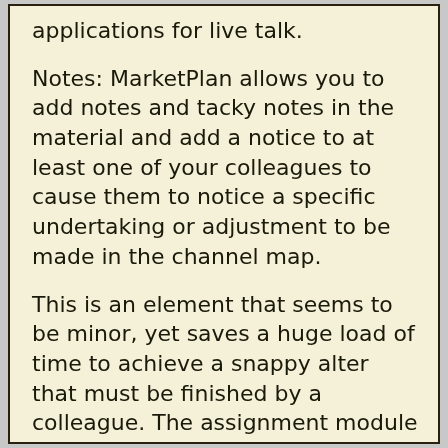applications for live talk.
Notes: MarketPlan allows you to add notes and tacky notes in the material and add a notice to at least one of your colleagues to cause them to notice a specific undertaking or adjustment to be made in the channel map.
This is an element that seems to be minor, yet saves a huge load of time to achieve a snappy alter that must be finished by a colleague. The assignment module is like notes, however, centers around a solitary errand that must be accomplished for the consistent progression of the channel map, and to make sure of